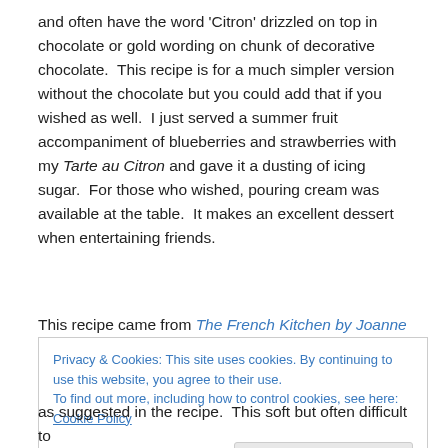and often have the word 'Citron' drizzled on top in chocolate or gold wording on chunk of decorative chocolate.  This recipe is for a much simpler version without the chocolate but you could add that if you wished as well.  I just served a summer fruit accompaniment of blueberries and strawberries with my Tarte au Citron and gave it a dusting of icing sugar.  For those who wished, pouring cream was available at the table.  It makes an excellent dessert when entertaining friends.
This recipe came from The French Kitchen by Joanne
Privacy & Cookies: This site uses cookies. By continuing to use this website, you agree to their use.
To find out more, including how to control cookies, see here: Cookie Policy
[Close and accept button]
as suggested in the recipe.  This soft but often difficult to